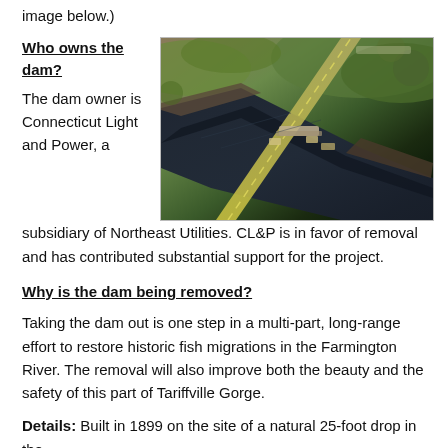image below.)
Who owns the dam?
The dam owner is Connecticut Light and Power, a subsidiary of Northeast Utilities. CL&P is in favor of removal and has contributed substantial support for the project.
[Figure (photo): Aerial photograph of Tariffville Gorge showing the Farmington River, a dam structure, surrounding forested landscape, and a road running diagonally through the scene.]
Why is the dam being removed?
Taking the dam out is one step in a multi-part, long-range effort to restore historic fish migrations in the Farmington River. The removal will also improve both the beauty and the safety of this part of Tariffville Gorge.
Details: Built in 1899 on the site of a natural 25-foot drop in the